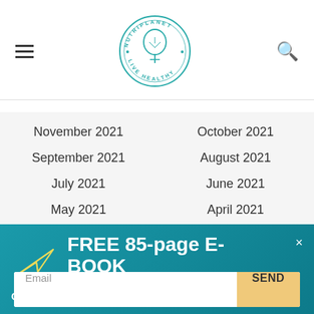NutriPlanet Live Healthy – navigation header with hamburger menu, logo, and search icon
November 2021
October 2021
September 2021
August 2021
July 2021
June 2021
May 2021
April 2021
FREE 85-page E-BOOK
Guide to Transitioning to Healthy Whole Food Diet
Email / SEND